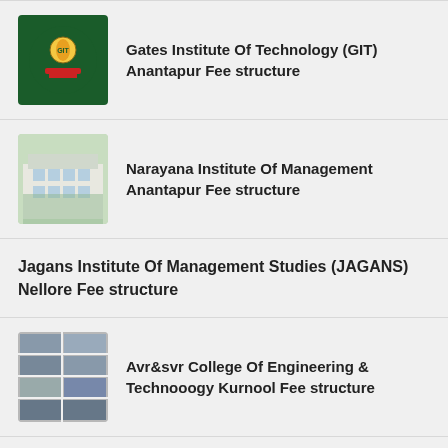Gates Institute Of Technology (GIT) Anantapur Fee structure
Narayana Institute Of Management Anantapur Fee structure
Jagans Institute Of Management Studies (JAGANS) Nellore Fee structure
Avr&svr College Of Engineering & Technooogy Kurnool Fee structure
Malineni Lakshmaiah Engineering College (MLEC) Prakasam Fee structure